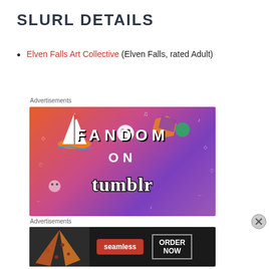SLURL DETAILS
Elven Falls Art Collective (Elven Falls, rated Adult)
Advertisements
[Figure (illustration): Fandom on Tumblr advertisement banner with colorful orange-to-purple gradient background, doodle icons, and bold text reading FANDOM ON tumblr]
Advertisements
[Figure (illustration): Seamless food delivery advertisement showing pizza slices on the left, Seamless logo in red, and ORDER NOW button on dark background]